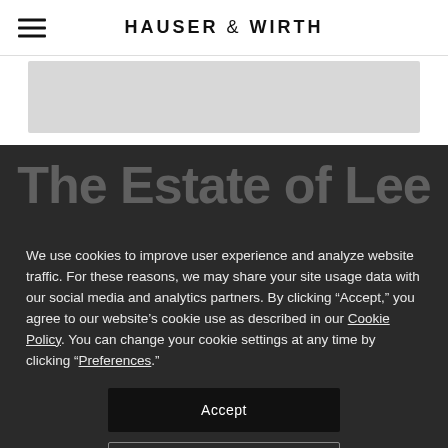HAUSER & WIRTH
[Figure (screenshot): Partial view of a Hauser & Wirth webpage showing a gray image strip below the header and large partially visible title text 'The Estate of Lee' on a dark background]
We use cookies to improve user experience and analyze website traffic. For these reasons, we may share your site usage data with our social media and analytics partners. By clicking “Accept,” you agree to our website’s cookie use as described in our Cookie Policy. You can change your cookie settings at any time by clicking “Preferences.”
Accept
Preferences